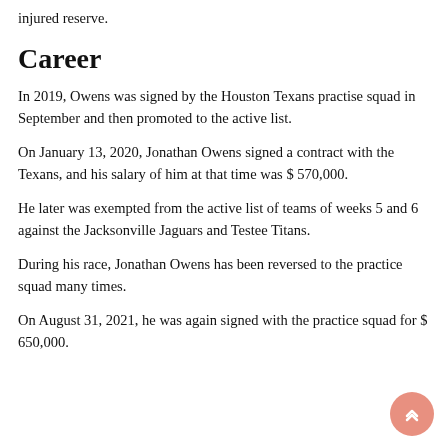injured reserve.
Career
In 2019, Owens was signed by the Houston Texans practise squad in September and then promoted to the active list.
On January 13, 2020, Jonathan Owens signed a contract with the Texans, and his salary of him at that time was $ 570,000.
He later was exempted from the active list of teams of weeks 5 and 6 against the Jacksonville Jaguars and Testee Titans.
During his race, Jonathan Owens has been reversed to the practice squad many times.
On August 31, 2021, he was again signed with the practice squad for $ 650,000.